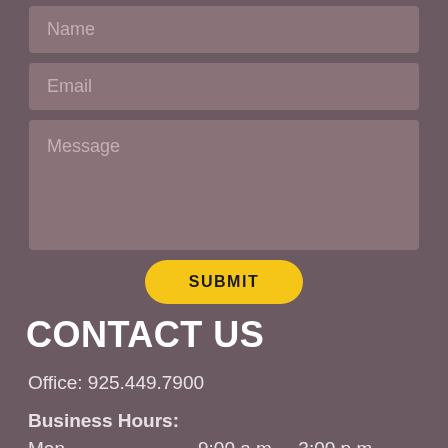Name
Email
Message
SUBMIT
CONTACT US
Office: 925.449.7900
Business Hours:
Mon    9:00 a.m. – 3:00 p.m.
Tues    9:00 a.m. – 5:00 p.m.